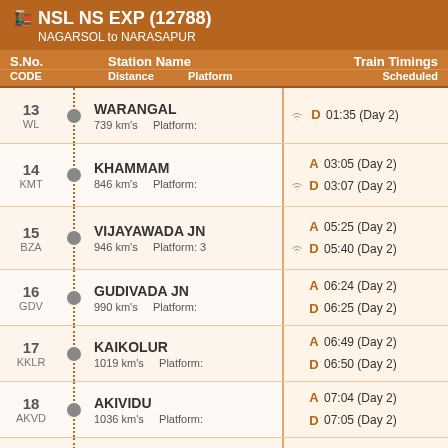NSL NS EXP (12788) - NAGARSOL to NARASAPUR
| S.No. CODE | Station Name / Distance / Platform | Train Timings Scheduled |
| --- | --- | --- |
| 13 WL | WARANGAL 739 km's Platform: | D 01:35 (Day 2) |
| 14 KMT | KHAMMAM 846 km's Platform: | A 03:05 (Day 2) / D 03:07 (Day 2) |
| 15 BZA | VIJAYAWADA JN 946 km's Platform: 3 | A 05:25 (Day 2) / D 05:40 (Day 2) |
| 16 GDV | GUDIVADA JN 990 km's Platform: | A 06:24 (Day 2) / D 06:25 (Day 2) |
| 17 KKLR | KAIKOLUR 1019 km's Platform: | A 06:49 (Day 2) / D 06:50 (Day 2) |
| 18 AKVD | AKIVIDU 1036 km's Platform: | A 07:04 (Day 2) / D 07:05 (Day 2) |
| 19 BVRT | BHIMAVARAM TOWN 1053 km's Platform: | A 07:19 (Day 2) / D 07:20 (Day 2) |